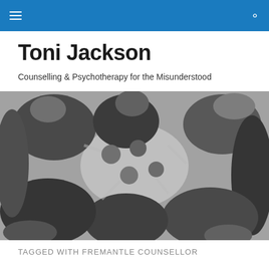Toni Jackson
Counselling & Psychotherapy for the Misunderstood
[Figure (photo): Black and white overhead/upward-looking photo of a group of diverse people lying or standing in a circle, looking toward the center/camera, arranged like a flower pattern.]
TAGGED WITH FREMANTLE COUNSELLOR